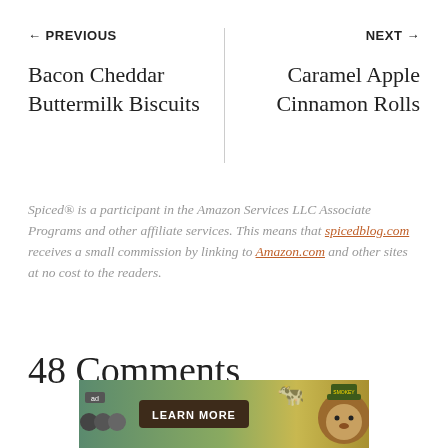← PREVIOUS   Bacon Cheddar Buttermilk Biscuits
NEXT →   Caramel Apple Cinnamon Rolls
Spiced® is a participant in the Amazon Services LLC Associate Programs and other affiliate services. This means that spicedblog.com receives a small commission by linking to Amazon.com and other sites at no cost to the readers.
48 Comments
[Figure (other): Advertisement banner with learn more button and bear mascot]